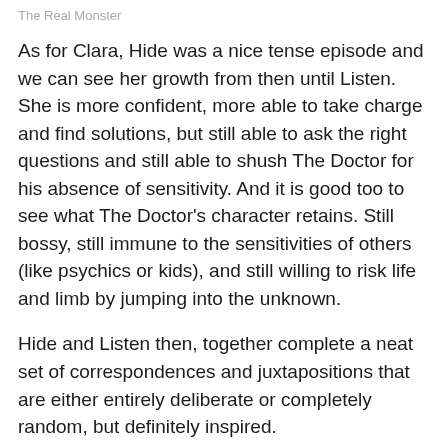The Real Monster
As for Clara, Hide was a nice tense episode and we can see her growth from then until Listen. She is more confident, more able to take charge and find solutions, but still able to ask the right questions and still able to shush The Doctor for his absence of sensitivity. And it is good too to see what The Doctor's character retains. Still bossy, still immune to the sensitivities of others (like psychics or kids), and still willing to risk life and limb by jumping into the unknown.
Hide and Listen then, together complete a neat set of correspondences and juxtapositions that are either entirely deliberate or completely random, but definitely inspired.
If Clara demonstrates the power of speech or the right words, then she is also voicing, as subtext, the importance